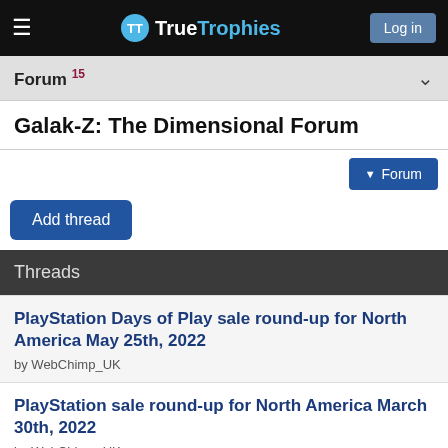TrueTrophies — Log in
Forum 15
Galak-Z: The Dimensional Forum
▼ Forum
Add thread
Threads
PlayStation Days of Play sale round-up for North America May 25th, 2022
by WebChimp_UK
PlayStation sale round-up for North America March 30th, 2022
by WebChimp_UK